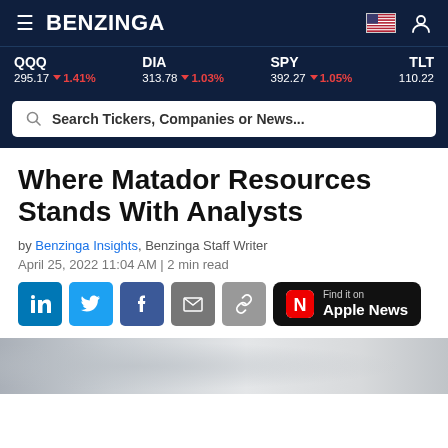BENZINGA
QQQ 295.17 ▼ 1.41% | DIA 313.78 ▼ 1.03% | SPY 392.27 ▼ 1.05% | TLT 110.22
Search Tickers, Companies or News...
Where Matador Resources Stands With Analysts
by Benzinga Insights, Benzinga Staff Writer
April 25, 2022 11:04 AM | 2 min read
[Figure (screenshot): Social sharing buttons: LinkedIn, Twitter, Facebook, Email, Link, and Apple News button]
[Figure (photo): Blurred article header image in grayscale tones]